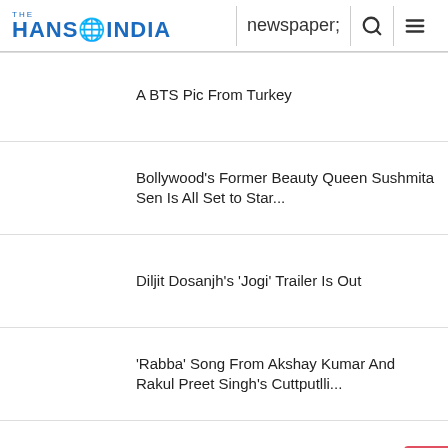THE HANS INDIA
A BTS Pic From Turkey
Bollywood's Former Beauty Queen Sushmita Sen Is All Set to Star...
Diljit Dosanjh's 'Jogi' Trailer Is Out
'Rabba' Song From Akshay Kumar And Rakul Preet Singh's Cuttputlli...
Arjun Rampal Joins The Cast Of Sonakshi Sinha's 'Nikita Roy And...
Break Out Trailer: Bramhanandam's Son Gautham Comes Up With An...
Staging The Jungle Book at Phoenix Arena